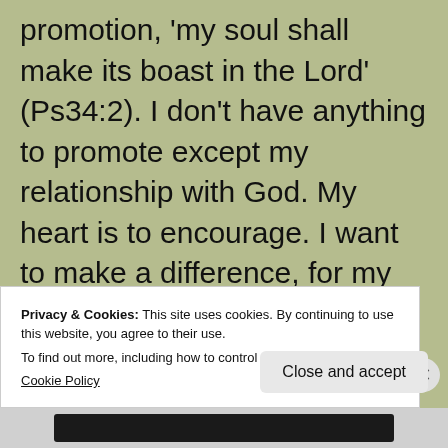promotion, 'my soul shall make its boast in the Lord' (Ps34:2). I don't have anything to promote except my relationship with God. My heart is to encourage. I want to make a difference, for my life to count for something. As Christians we all have the opportunity to accomplish
Privacy & Cookies: This site uses cookies. By continuing to use this website, you agree to their use. To find out more, including how to control cookies, see here: Cookie Policy
Close and accept